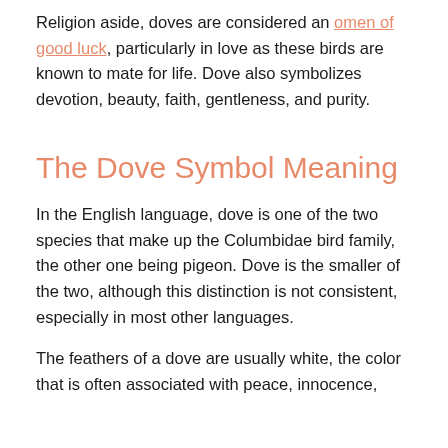Religion aside, doves are considered an omen of good luck, particularly in love as these birds are known to mate for life. Dove also symbolizes devotion, beauty, faith, gentleness, and purity.
The Dove Symbol Meaning
In the English language, dove is one of the two species that make up the Columbidae bird family, the other one being pigeon. Dove is the smaller of the two, although this distinction is not consistent, especially in most other languages.
The feathers of a dove are usually white, the color that is often associated with peace, innocence,